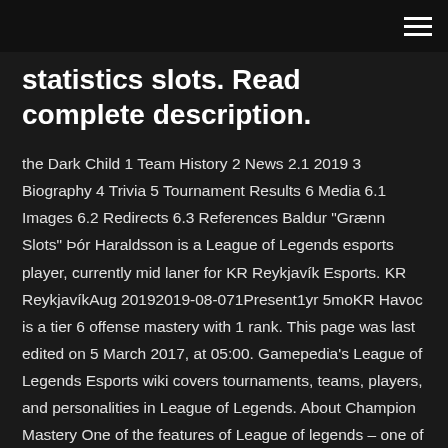statistics slots. Read complete description.
the Dark Child 1 Team History 2 News 2.1 2019 3 Biography 4 Trivia 5 Tournament Results 6 Media 6.1 Images 6.2 Redirects 6.3 References Baldur "Grænn Slots" Þór Haraldsson is a League of Legends esports player, currently mid laner for KR Reykjavík Esports. KR ReykjavíkAug 20192019-08-071Present1yr 5moKR Havoc is a tier 6 offense mastery with 1 rank. This page was last edited on 5 March 2017, at 05:00. Gamepedia's League of Legends Esports wiki covers tournaments, teams, players, and personalities in League of Legends. About Champion Mastery One of the features of League of legends – one of the hottest online games played by millions of people daily